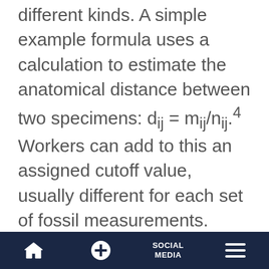different kinds. A simple example formula uses a calculation to estimate the anatomical distance between two specimens: d_ij = m_ij/n_ij.⁴ Workers can add to this an assigned cutoff value, usually different for each set of fossil measurements. Stricter cutoffs produce more groups and looser cutoffs lump more specimens into fewer groups. Which slant would you prefer?
These processes present plenty of room for bias. Subjectivity enters when selecting fossil sets, creature traits, the importance
🏠  ⊕  SOCIAL MEDIA  ≡